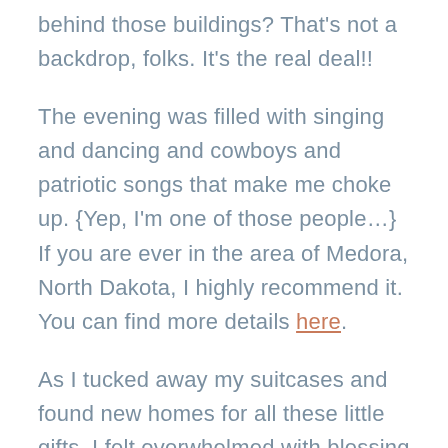behind those buildings?  That's not a backdrop, folks.  It's the real deal!!
The evening was filled with singing and dancing and cowboys and patriotic songs that make me choke up.  {Yep, I'm one of those people…}  If you are ever in the area of Medora, North Dakota, I highly recommend it.  You can find more details here.
As I tucked away my suitcases and found new homes for all these little gifts, I felt overwhelmed with blessing and